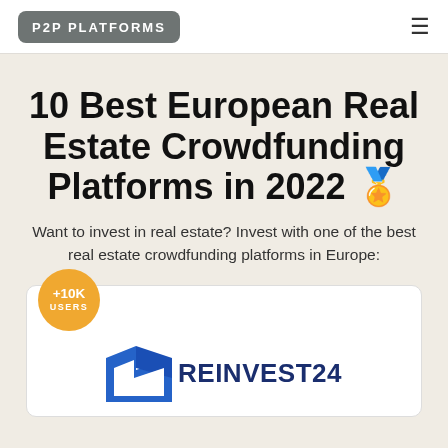P2P PLATFORMS
10 Best European Real Estate Crowdfunding Platforms in 2022 🏅
Want to invest in real estate? Invest with one of the best real estate crowdfunding platforms in Europe:
[Figure (logo): Reinvest24 logo with blue arrow/chevron shape and wordmark REINVEST24, with a gold badge overlay showing +10K USERS]